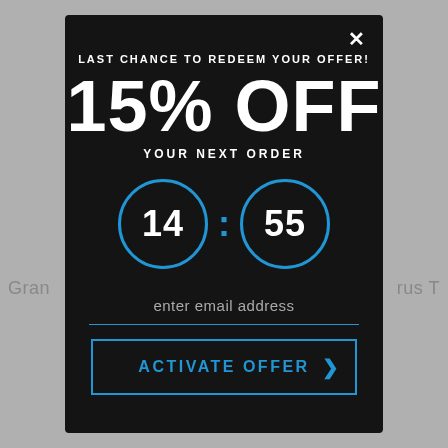Gran
rus T
LAST CHANCE TO REDEEM YOUR OFFER!
15% OFF
YOUR NEXT ORDER
[Figure (infographic): Countdown timer showing 14:55 with blue circular borders around each number]
enter email address
ACTIVATE OFFER